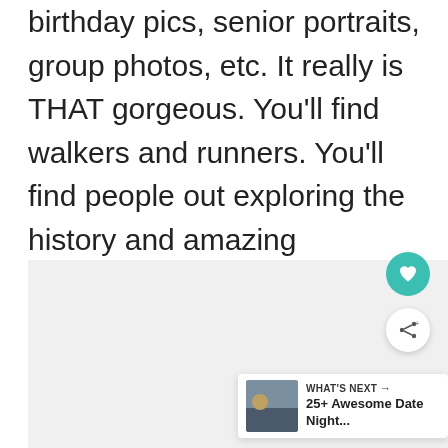birthday pics, senior portraits, group photos, etc. It really is THAT gorgeous. You'll find walkers and runners. You'll find people out exploring the history and amazing monuments. Today we even found a man playing the bagpipes (not sure what that was all about!).
[Figure (photo): A photo or image area with a light gray placeholder background, partially visible at the bottom of the page.]